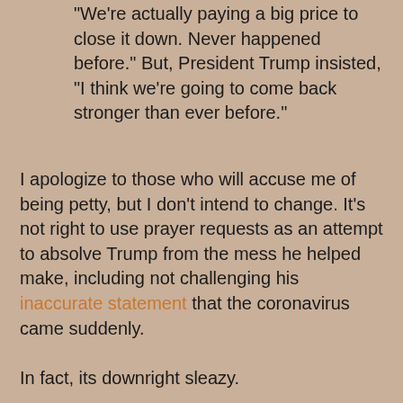"We're actually paying a big price to close it down. Never happened before." But, President Trump insisted, "I think we're going to come back stronger than ever before."
I apologize to those who will accuse me of being petty, but I don't intend to change. It's not right to use prayer requests as an attempt to absolve Trump from the mess he helped make, including not challenging his inaccurate statement that the coronavirus came suddenly.
In fact, its downright sleazy.
Pray for our nation if you want. And by all means pray for Trump if you feel the need. But don't even attempt to write off, push away, or ignore the many ways he mismanaged this disaster. Don't even attempt to pretend that Trump had this situation under control from the beginning when he kept shifting positions from claiming that his administration had this problem under control, to claiming that it was a Democratic hoax, to finally acknowledging the seriousness of